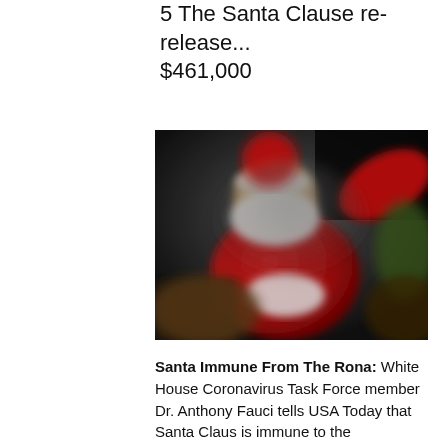5 The Santa Clause re-release... $461,000
[Figure (photo): Blurred/bokeh photo of a Santa Claus figure in red suit waving, with dark background and Christmas decorations]
Santa Immune From The Rona: White House Coronavirus Task Force member Dr. Anthony Fauci tells USA Today that Santa Claus is immune to the coronavirus. "Santa has got to be out for this..."